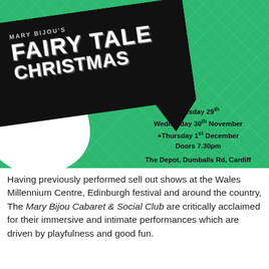[Figure (illustration): Event poster for Mary Bijou's Fairy Tale Christmas on a green patterned background with a black arrow/banner shape containing the show title, and event details on the right]
Having previously performed sell out shows at the Wales Millennium Centre, Edinburgh festival and around the country, The Mary Bijou Cabaret & Social Club are critically acclaimed for their immersive and intimate performances which are driven by playfulness and good fun.